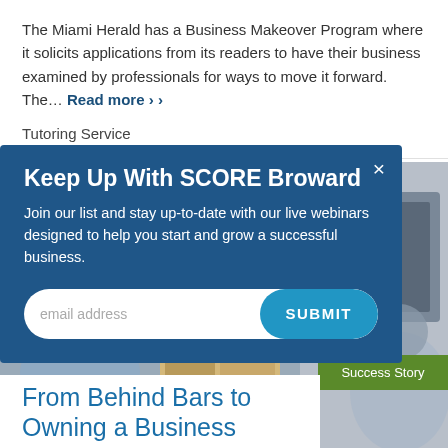The Miami Herald has a Business Makeover Program where it solicits applications from its readers to have their business examined by professionals for ways to move it forward. The… Read more ›
Tutoring Service
[Figure (screenshot): Modal popup with dark blue background over a photo of a tutoring/classroom scene. Modal contains newsletter signup for SCORE Broward with email input and Submit button.]
Keep Up With SCORE Broward
Join our list and stay up-to-date with our live webinars designed to help you start and grow a successful business.
Success Story
From Behind Bars to Owning a Business